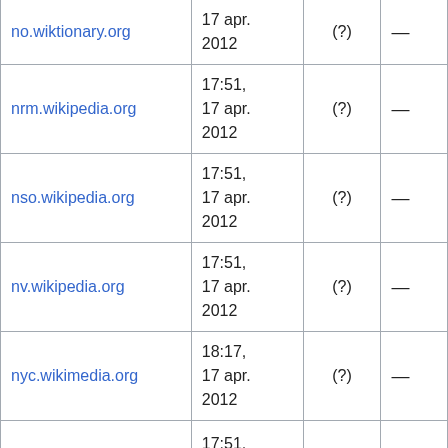| Domain | Date | (?) | — |
| --- | --- | --- | --- |
| no.wiktionary.org | 17:51, 17 apr. 2012 | (?) | — |
| nrm.wikipedia.org | 17:51, 17 apr. 2012 | (?) | — |
| nso.wikipedia.org | 17:51, 17 apr. 2012 | (?) | — |
| nv.wikipedia.org | 17:51, 17 apr. 2012 | (?) | — |
| nyc.wikimedia.org | 18:17, 17 apr. 2012 | (?) | — |
| (partial) | 17:51, |  |  |